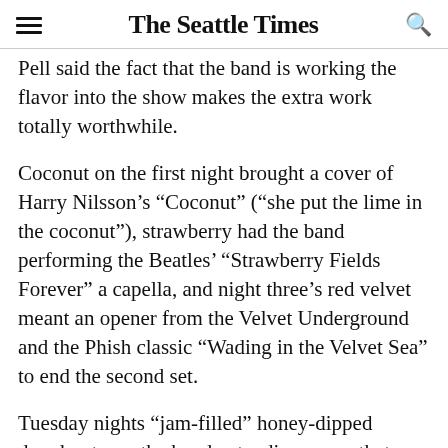The Seattle Times
Pell said the fact that the band is working the flavor into the show makes the extra work totally worthwhile.
Coconut on the first night brought a cover of Harry Nilsson's “Coconut” (“she put the lime in the coconut”), strawberry had the band performing the Beatles’ “Strawberry Fields Forever” a capella, and night three’s red velvet meant an opener from the Velvet Underground and the Phish classic “Wading in the Velvet Sea” to end the second set.
Tuesday nights “jam-filled” honey-dipped doughnut saw the band extending songs that even it doesn’t usually jam to. “Lawn Boy” usually lasts a few minutes, but went on for a half hour. It wound up